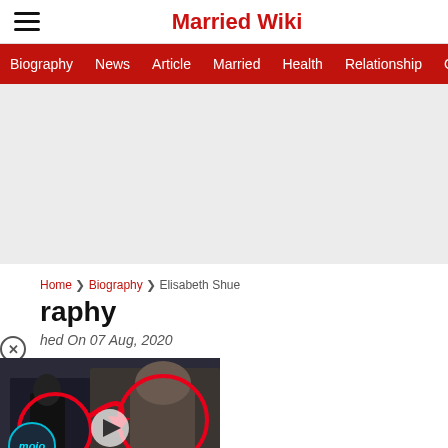Married Wiki
Biography | News | Article | Married | Health | Relationship | Ga...
[Figure (other): Gray advertisement placeholder area]
Home > Biography > Elisabeth Shue
raphy
hed On 07 Aug, 2020
[Figure (screenshot): Video thumbnail showing moments before attack - WatchMojo style video with red circles highlighting people and arrow pointing to subject, with play button overlay and mojo logo]